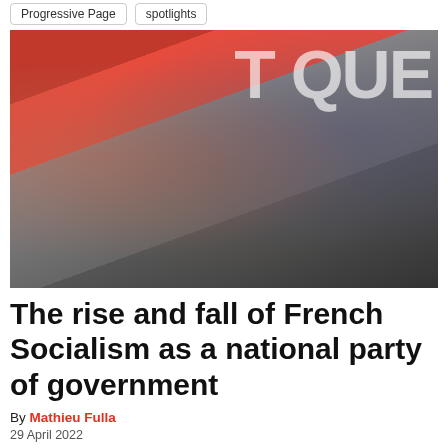Progressive Page   spotlights
[Figure (photo): Group of people at a political rally on stage, some wearing face masks, in front of a red banner with partial white text. A woman in a dark blazer stands in the center smiling.]
The rise and fall of French Socialism as a national party of government
By Mathieu Fulla
29 April 2022